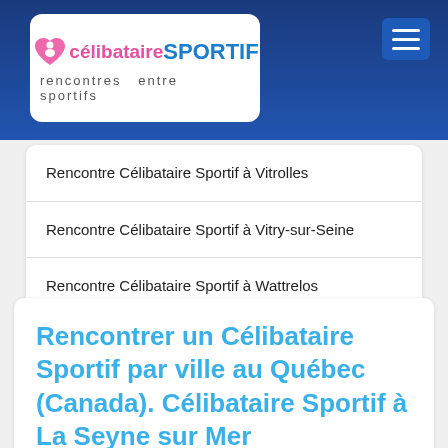CélibataireSPORTIF — rencontres entre sportifs
Rencontre Célibataire Sportif à Vitrolles
Rencontre Célibataire Sportif à Vitry-sur-Seine
Rencontre Célibataire Sportif à Wattrelos
Rencontre Célibataire Sportif à Yvetot
Rencontrer un Célibataire Sportif par ville au Québec (Canada). Célibataire Sportif à La Seyne sur Mer